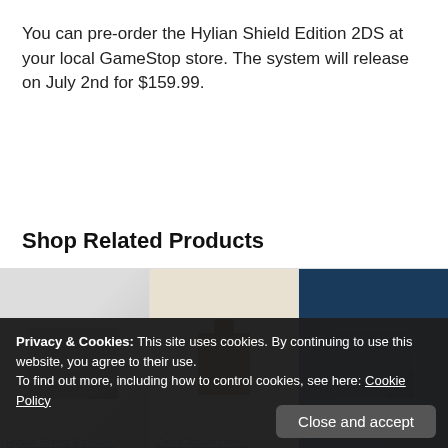You can pre-order the Hylian Shield Edition 2DS at your local GameStop store. The system will release on July 2nd for $159.99.
SOURCE
Shop Related Products
[Figure (photo): Three product cards showing gaming products: Hylian Shield Ed., W...; Zelda Adventurer...; Encyclopedia...]
Privacy & Cookies: This site uses cookies. By continuing to use this website, you agree to their use.
To find out more, including how to control cookies, see here: Cookie Policy